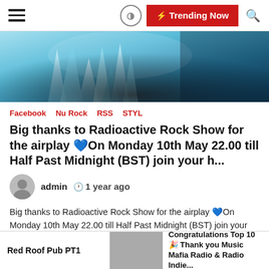Hamburger menu | circle icon | Trending Now | search icon
[Figure (photo): Hero image with icy blue spiky shapes, dark at bottom, light blue at top]
Facebook  Nu Rock  RSS  STYL
Big thanks to Radioactive Rock Show for the airplay 💙On Monday 10th May 22.00 till Half Past Midnight (BST) join your h...
admin  🕐 1 year ago
Big thanks to Radioactive Rock Show for the airplay 💙On Monday 10th May 22.00 till Half Past Midnight (BST) join your h… Big thanks to Radioactive Rock Show for the airplay 💙On Monday 10th May 22.00 till Half Past Midnight (BST) join your host Terence Birnie on Radio Leyland for […]
Red Roof Pub PT1
Congratulations Top 10🎉 Thank you Music Mafia Radio & Radio Indie...